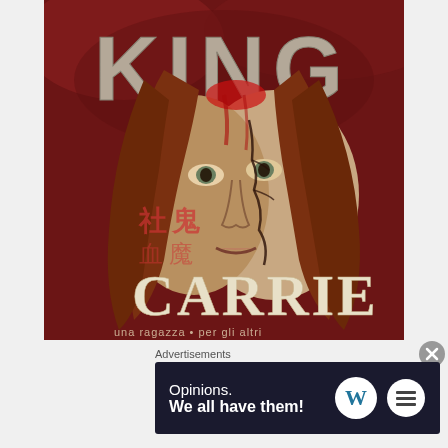[Figure (illustration): Book cover for 'Carrie' by Stephen King. Features a close-up of a young woman's face with long reddish-brown hair. The right half of her face is pale/clean, the left half has dark cracks and appears weathered/damaged. The background is deep red with atmospheric elements. Large stone-textured letters spell 'KING' at the top. The word 'CARRIE' appears in large white/gold serif letters at the bottom. Additional text in what appears to be another language (possibly Chinese characters) visible on the left side. Text at very bottom is partially visible.]
Advertisements
[Figure (screenshot): Advertisement banner with dark blue background. Text reads 'Opinions. We all have them!' in white. WordPress logo (white circle with W) and another circular logo are on the right side.]